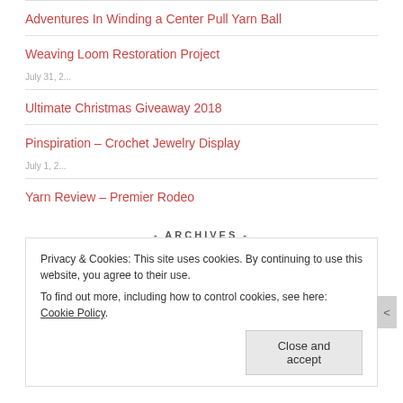Adventures In Winding a Center Pull Yarn Ball
Weaving Loom Restoration Project
Ultimate Christmas Giveaway 2018
Pinspiration – Crochet Jewelry Display
Yarn Review – Premier Rodeo
- ARCHIVES -
Privacy & Cookies: This site uses cookies. By continuing to use this website, you agree to their use.
To find out more, including how to control cookies, see here: Cookie Policy